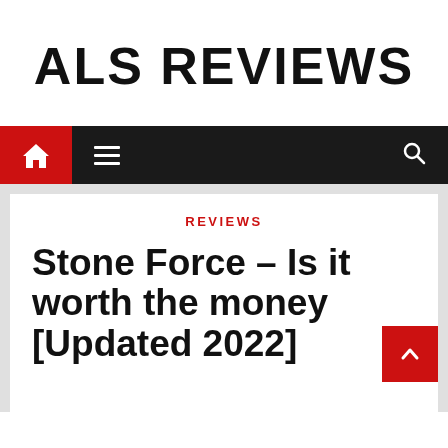ALS REVIEWS
Navigation bar with home icon, menu icon, and search icon
REVIEWS
Stone Force – Is it worth the money [Updated 2022]